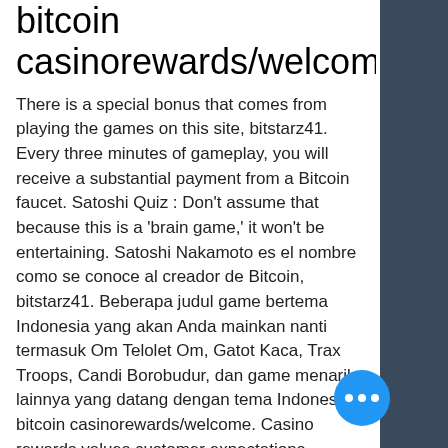bitcoin casinorewards/welcome
There is a special bonus that comes from playing the games on this site, bitstarz41. Every three minutes of gameplay, you will receive a substantial payment from a Bitcoin faucet. Satoshi Quiz : Don't assume that because this is a 'brain game,' it won't be entertaining. Satoshi Nakamoto es el nombre como se conoce al creador de Bitcoin, bitstarz41. Beberapa judul game bertema Indonesia yang akan Anda mainkan nanti termasuk Om Telolet Om, Gatot Kaca, Trax Troops, Candi Borobudur, dan game menarik lainnya yang datang dengan tema Indonesia, bitcoin casinorewards/welcome. Casino rewards values customer expectations regarding popular casino rewards. How to claim bitcoin no deposit bonus code, bitstarz terms and conditions. Welcome to social tournaments! play free